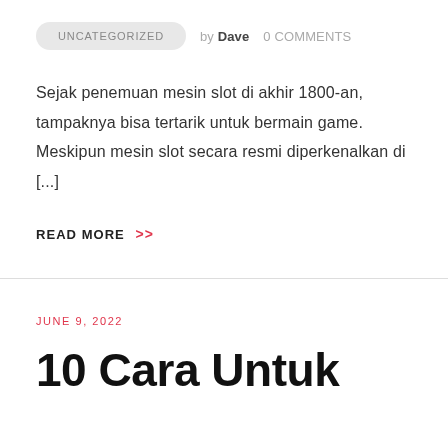UNCATEGORIZED  by Dave  0 COMMENTS
Sejak penemuan mesin slot di akhir 1800-an, tampaknya bisa tertarik untuk bermain game. Meskipun mesin slot secara resmi diperkenalkan di [...]
READ MORE >>
JUNE 9, 2022
10 Cara Untuk